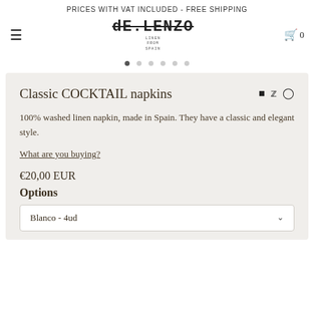PRICES WITH VAT INCLUDED - FREE SHIPPING
[Figure (logo): de.LENZO linen brand logo with strikethrough lettering and small text below]
Classic COCKTAIL napkins
100% washed linen napkin, made in Spain. They have a classic and elegant style.
What are you buying?
€20,00 EUR
Options
Blanco - 4ud